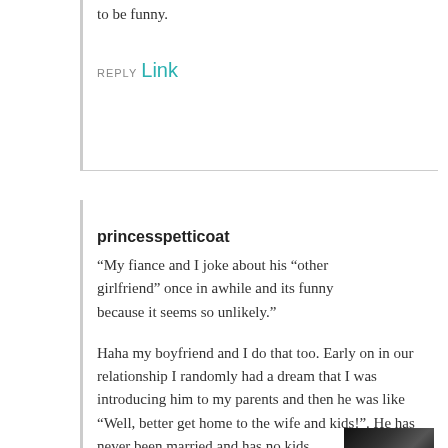to be funny.
REPLY Link
princesspetticoat
“My fiance and I joke about his “other girlfriend” once in awhile and its funny because it seems so unlikely.”
Haha my boyfriend and I do that too. Early on in our relationship I randomly had a dream that I was introducing him to my parents and then he was like “Well, better get home to the wife and kids!”. He has never been married and has no kids
so it was a ridiculous dream. Now we joke about it.